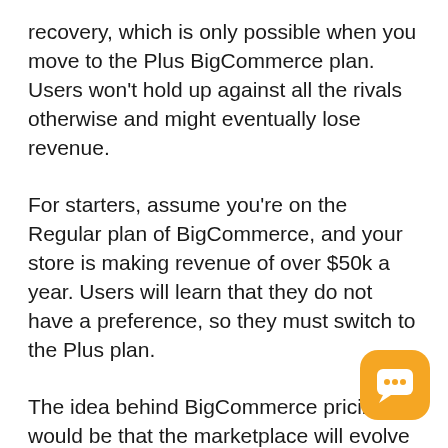recovery, which is only possible when you move to the Plus BigCommerce plan. Users won't hold up against all the rivals otherwise and might eventually lose revenue.
For starters, assume you're on the Regular plan of BigCommerce, and your store is making revenue of over $50k a year. Users will learn that they do not have a preference, so they must switch to the Plus plan.
The idea behind BigCommerce pricing would be that the marketplace will evolve with you while your store expands. This is a big picture of which matches up the output with BigCommerce efficiently.
[Figure (illustration): Orange rounded square chat widget button with three dots (ellipsis) speech bubble icon, positioned in the bottom-right corner of the page.]